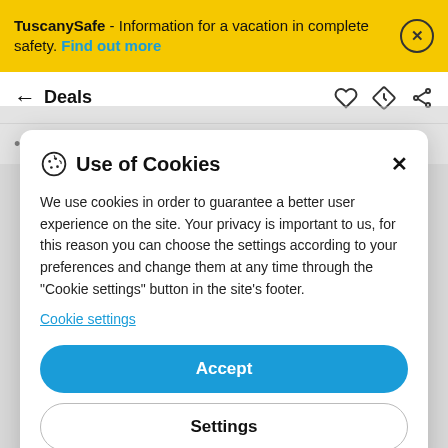TuscanySafe - Information for a vacation in complete safety. Find out more
Deals
Difficulty: EE (for experts) some steep sections in
Use of Cookies
We use cookies in order to guarantee a better user experience on the site. Your privacy is important to us, for this reason you can choose the settings according to your preferences and change them at any time through the "Cookie settings" button in the site's footer.
Cookie settings
Accept
Settings